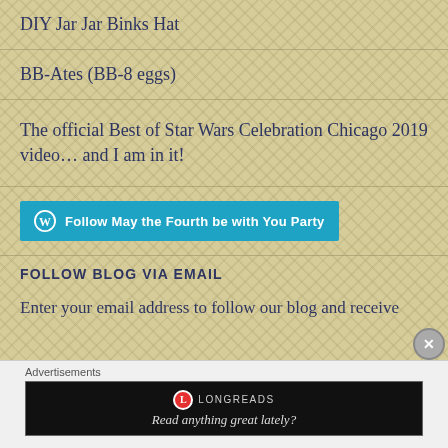DIY Jar Jar Binks Hat
BB-Ates (BB-8 eggs)
The official Best of Star Wars Celebration Chicago 2019 video… and I am in it!
[Figure (other): WordPress Follow button: Follow May the Fourth be with You Party]
FOLLOW BLOG VIA EMAIL
Enter your email address to follow our blog and receive
[Figure (other): Longreads advertisement banner: Read anything great lately?]